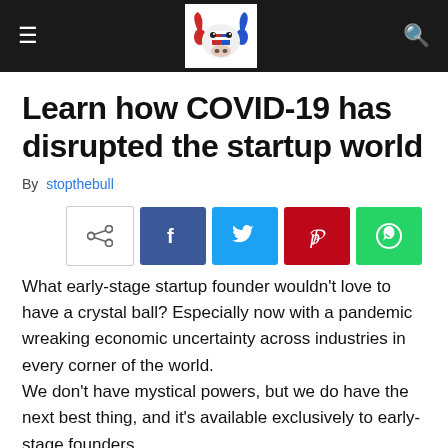stopthebull website header with navigation
Learn how COVID-19 has disrupted the startup world
By stopthebull
[Figure (other): Social share buttons: share icon, Facebook, Twitter, Pinterest, WhatsApp]
What early-stage startup founder wouldn't love to have a crystal ball? Especially now with a pandemic wreaking economic uncertainty across industries in every corner of the world.
We don't have mystical powers, but we do have the next best thing, and it's available exclusively to early-stage founders